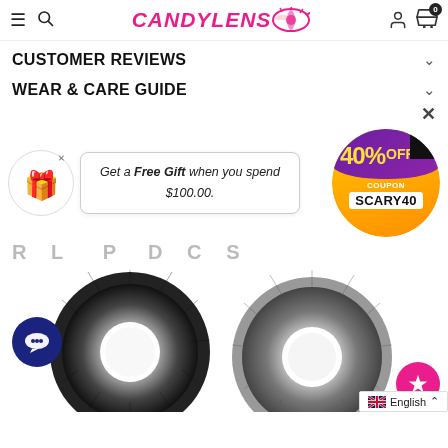CandyLens
CUSTOMER REVIEWS
WEAR & CARE GUIDE
Get a Free Gift when you spend $100.00.
[Figure (infographic): 40% OFF coupon badge with code SCARY40, Halloween themed circular orange and purple badge]
RELATED PRODUCTS
[Figure (photo): Two contact lens product images shown at bottom of page. Left lens is dark grey/black with radiating pattern. Right lens is lighter grey. Left image has a chat bubble icon overlay. Right image has a star/wishlist icon overlay.]
English